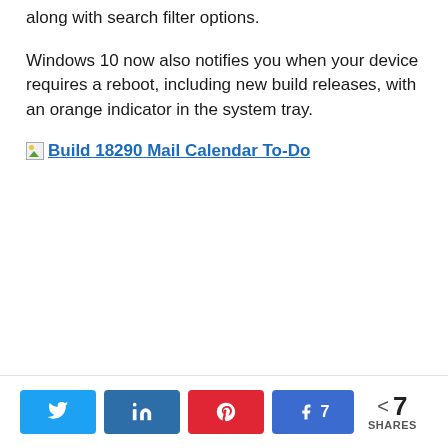along with search filter options.
Windows 10 now also notifies you when your device requires a reboot, including new build releases, with an orange indicator in the system tray.
[Figure (other): Broken image placeholder link labeled 'Build 18290 Mail Calendar To-Do']
Social share bar with Twitter, LinkedIn, Pinterest, Facebook (7 shares) buttons and share count: 7 SHARES